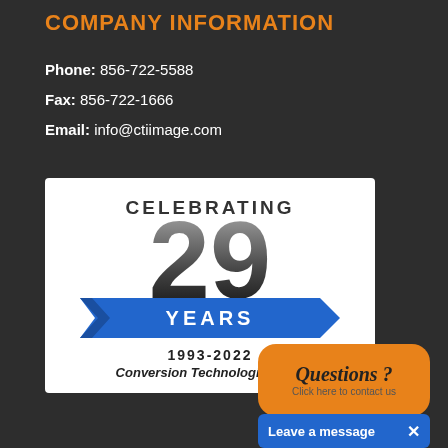COMPANY INFORMATION
Phone: 856-722-5588
Fax: 856-722-1666
Email: info@ctiimage.com
[Figure (logo): Celebrating 29 Years 1993-2022 logo for Conversion Technologies International]
Questions ? Click here to contact us
Leave a message  ✕